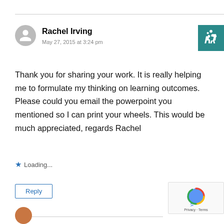Rachel Irving
May 27, 2015 at 3:24 pm
Thank you for sharing your work. It is really helping me to formulate my thinking on learning outcomes. Please could you email the powerpoint you mentioned so I can print your wheels. This would be much appreciated, regards Rachel
Loading...
Reply